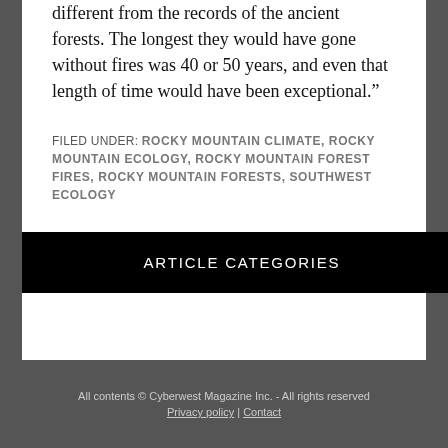different from the records of the ancient forests. The longest they would have gone without fires was 40 or 50 years, and even that length of time would have been exceptional.”
FILED UNDER: ROCKY MOUNTAIN CLIMATE, ROCKY MOUNTAIN ECOLOGY, ROCKY MOUNTAIN FOREST FIRES, ROCKY MOUNTAIN FORESTS, SOUTHWEST ECOLOGY
ARTICLE CATEGORIES
All contents © Cyberwest Magazine Inc. - All rights reserved Privacy policy | Contact